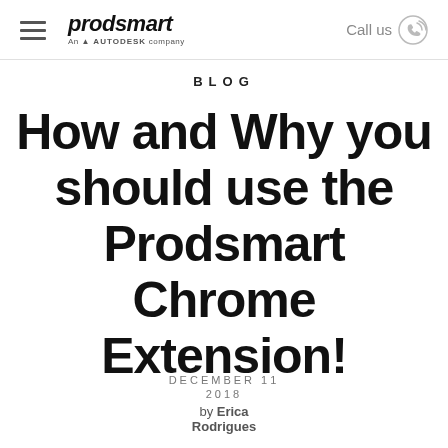prodsmart — An AUTODESK company | Call us
BLOG
How and Why you should use the Prodsmart Chrome Extension!
DECEMBER 11
2018
by Erica Rodrigues